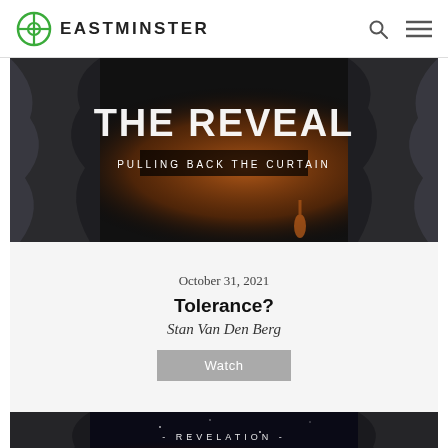EASTMINSTER
[Figure (photo): Theatrical image showing 'THE REVEAL - PULLING BACK THE CURTAIN' with dark curtains on sides and dramatic lighting]
October 31, 2021
Tolerance?
Stan Van Den Berg
Watch
[Figure (photo): Second theatrical image showing '- REVELATION - THE REVEAL' with dark curtains and starry background]